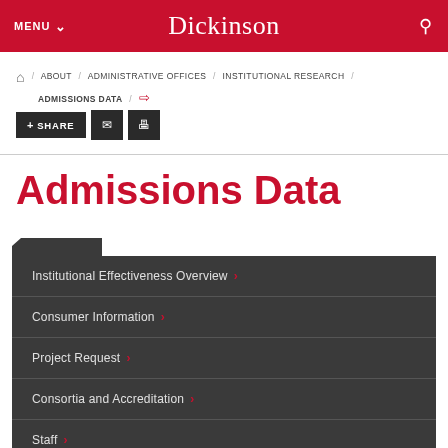MENU | Dickinson
ABOUT / ADMINISTRATIVE OFFICES / INSTITUTIONAL RESEARCH / ADMISSIONS DATA /
+ SHARE [email] [print]
Admissions Data
Institutional Effectiveness Overview
Consumer Information
Project Request
Consortia and Accreditation
Staff